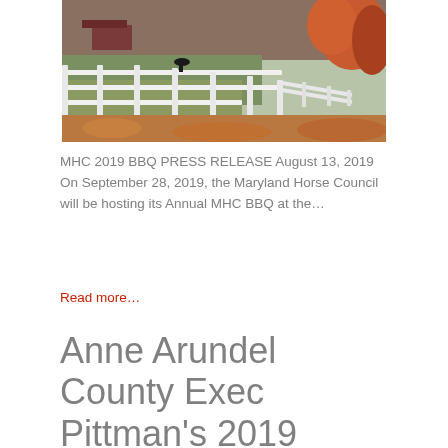[Figure (photo): Farm scene with white wooden fence in the foreground, green grass, red/orange autumn leaves, and farm buildings in the background]
MHC 2019 BBQ PRESS RELEASE August 13, 2019 On September 28, 2019, the Maryland Horse Council will be hosting its Annual MHC BBQ at the…
Read more…
Anne Arundel County Exec Pittman's 2019 Horse Forum Speech